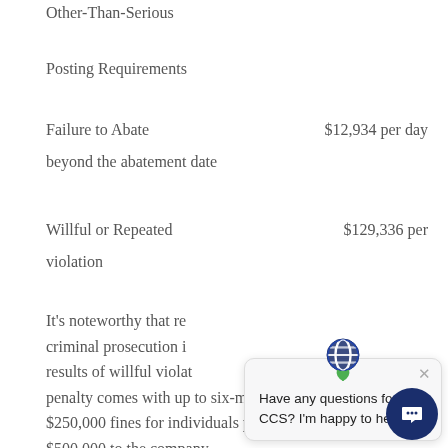Other-Than-Serious
Posting Requirements
Failure to Abate	$12,934 per day
beyond the abatement date
Willful or Repeated	$129,336 per
violation
It's noteworthy that re... criminal prosecution i... results of willful violat... penalty comes with up to six-months prison time and $250,000 fines for individuals plus fines up to $500,000 to the company.
[Figure (screenshot): Chat widget popup with globe/leaf logo asking 'Have any questions for CCS? I'm happy to help.' with a close button and chat bubble button.]